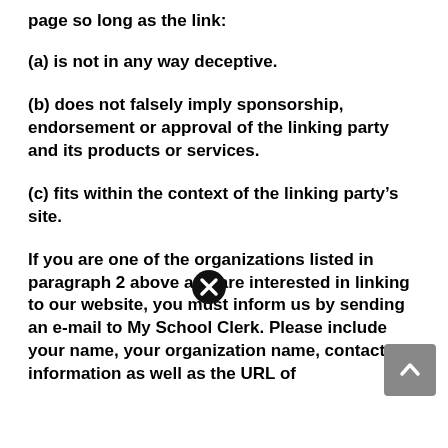page so long as the link:
(a) is not in any way deceptive.
(b) does not falsely imply sponsorship, endorsement or approval of the linking party and its products or services.
(c) fits within the context of the linking party’s site.
If you are one of the organizations listed in paragraph 2 above and are interested in linking to our website, you must inform us by sending an e-mail to My School Clerk. Please include your name, your organization name, contact information as well as the URL of your site, a list of any URLs from which